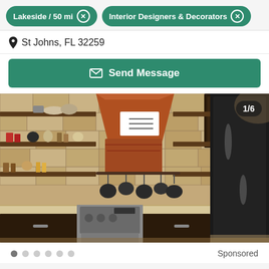Lakeside / 50 mi ×
Interior Designers & Decorators ×
St Johns, FL 32259
✉ Send Message
[Figure (photo): Kitchen interior with stone tile backsplash, copper range hood, open wooden shelves with kitchen items, stainless steel range stove, dark lower cabinets with granite countertops, and black refrigerator. Photo counter shows 1/6.]
Sponsored